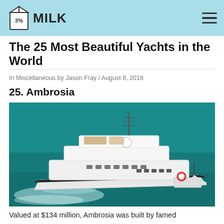3% MILK
The 25 Most Beautiful Yachts in the World
In Miscellaneous by Jason Fray / August 8, 2018
25. Ambrosia
[Figure (photo): Aerial view of the Ambrosia superyacht sailing on turquoise water, white hull with multiple decks and wake visible behind it.]
Valued at $134 million, Ambrosia was built by famed